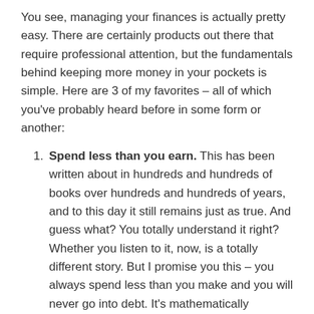You see, managing your finances is actually pretty easy. There are certainly products out there that require professional attention, but the fundamentals behind keeping more money in your pockets is simple. Here are 3 of my favorites – all of which you've probably heard before in some form or another:
Spend less than you earn. This has been written about in hundreds and hundreds of books over hundreds and hundreds of years, and to this day it still remains just as true. And guess what? You totally understand it right? Whether you listen to it, now, is a totally different story. But I promise you this – you always spend less than you make and you will never go into debt. It's mathematically impossible.
Save 10% of your income. Another favorite among